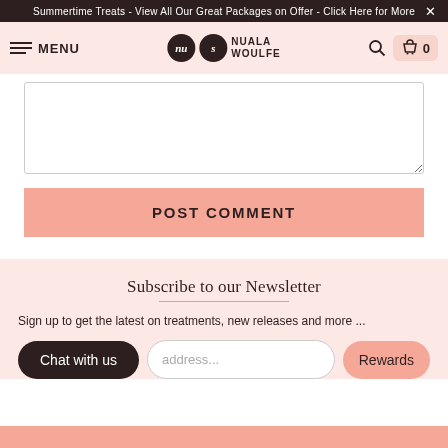Summertime Treats - View All Our Great Packages on Offer - Click Here for More ×
MENU  NUALA WOULFE  0
[Figure (screenshot): Comment textarea input box]
POST COMMENT
Subscribe to our Newsletter
Sign up to get the latest on treatments, new releases and more ...
Email address...
Chat with us
Rewards